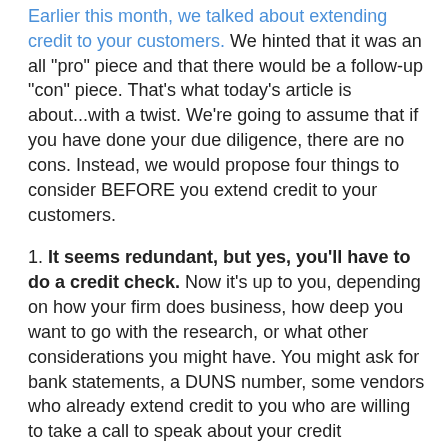Earlier this month, we talked about extending credit to your customers.  We hinted that it was an all “pro” piece and that there would be a follow-up “con” piece.  That’s what today’s article is about…with a twist.  We’re going to assume that if you have done your due diligence, there are no cons.  Instead, we would propose four things to consider BEFORE you extend credit to your customers.
1.  It seems redundant, but yes, you’ll have to do a credit check.  Now it’s up to you, depending on how your firm does business, how deep you want to go with the research, or what other considerations you might have.  You might ask for bank statements, a DUNS number, some vendors who already extend credit to you who are willing to take a call to speak about your credit